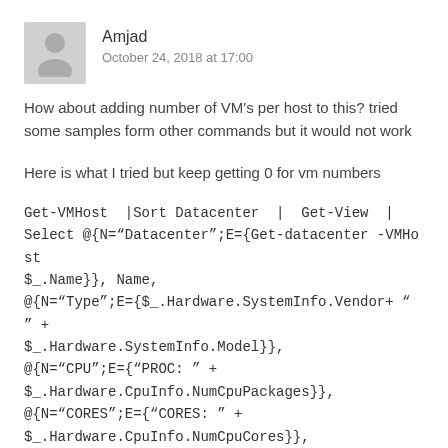Amjad
October 24, 2018 at 17:00
How about adding number of VM's per host to this? tried some samples form other commands but it would not work
Here is what I tried but keep getting 0 for vm numbers
Get-VMHost |Sort Datacenter | Get-View |
Select @{N="Datacenter";E={Get-datacenter -VMHost
$_.Name}}, Name,
@{N="Type";E={$_.Hardware.SystemInfo.Vendor+ " " +
$_.Hardware.SystemInfo.Model}},
@{N="CPU";E={"PROC: " +
$_.Hardware.CpuInfo.NumCpuPackages}},
@{N="CORES";E={"CORES: " +
$_.Hardware.CpuInfo.NumCpuCores}},
@{N="VMs";E={($_ |Get-VM).Count}}